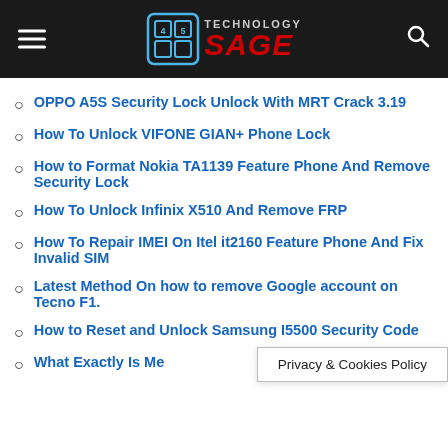Technology Sage
OPPO A5S Security Lock Unlock With MRT Crack 3.19
How To Unlock VIFONE GIAN+ Phone Lock
How to Format Nokia TA1139 Feature Phone And Remove Security Lock
How To Unlock Infinix X510 And Remove FRP
How To Repair IMEI On Itel it2160 Feature Phone And Fix Invalid SIM
Latest Method On how to remove Google account on Tecno F1.
How to Reset and Unlock Samsung I5500 Security Code
What Exactly Is Me…
Privacy & Cookies Policy